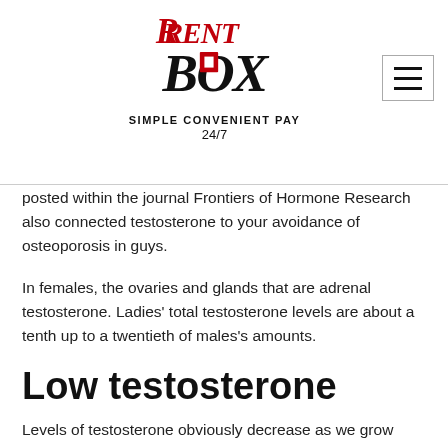[Figure (logo): RentBox logo with 'RENT BOX' text in red and black stylized lettering, tagline 'Simple Convenient Pay 24/7']
posted within the journal Frontiers of Hormone Research also connected testosterone to your avoidance of osteoporosis in guys.
In females, the ovaries and glands that are adrenal testosterone. Ladies' total testosterone levels are about a tenth up to a twentieth of males's amounts.
Low testosterone
Levels of testosterone obviously decrease as we grow older, but just what level comprises T that is"low, or hypogonadism, is controversial. Harvard healthcare class said. Testosterone